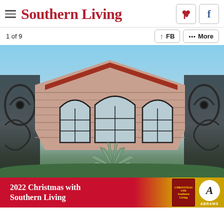Southern Living
1 of 9
[Figure (photo): Exterior of a Spanish/Mediterranean-style brick building with arched iron-framed windows, red clay tile roof, and ornamental iron gate in the foreground, with an agave plant at the base. Blue sky background with a palm tree visible.]
[Figure (infographic): Advertisement banner: '2022 Christmas with Southern Living' in white text on red background, with a book cover image and Abrams publisher logo on the right.]